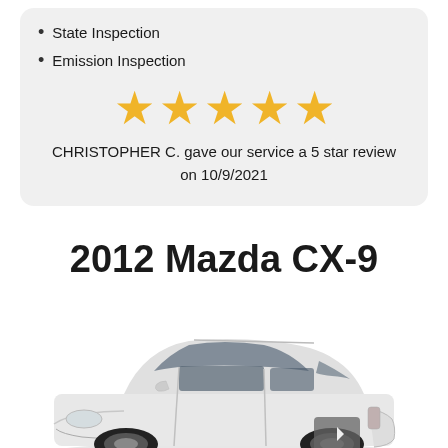State Inspection
Emission Inspection
[Figure (other): Five gold stars rating]
CHRISTOPHER C. gave our service a 5 star review on 10/9/2021
2012 Mazda CX-9
[Figure (photo): White 2012 Mazda CX-9 SUV vehicle photograph]